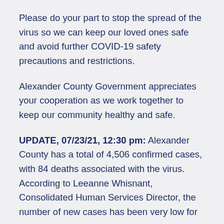Please do your part to stop the spread of the virus so we can keep our loved ones safe and avoid further COVID-19 safety precautions and restrictions.
Alexander County Government appreciates your cooperation as we work together to keep our community healthy and safe.
UPDATE, 07/23/21, 12:30 pm: Alexander County has a total of 4,506 confirmed cases, with 84 deaths associated with the virus. According to Leeanne Whisnant, Consolidated Human Services Director, the number of new cases has been very low for